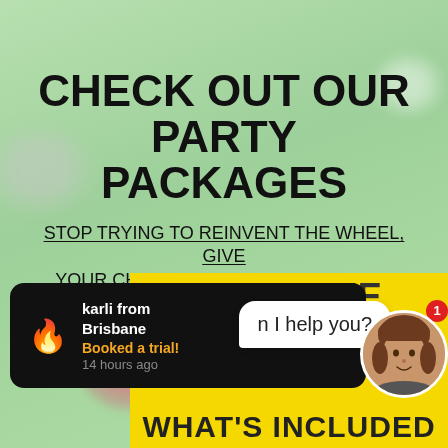CHECK OUT OUR PARTY PACKAGES
STOP TRYING TO REINVENT THE WHEEL, GIVE YOUR CHILD THE ULTIMATE BIRTHDAY
[Figure (screenshot): Yellow banner section showing KARATE PARTY heading and WHAT'S INCLUDED text on yellow background]
[Figure (infographic): Notification popup: karli from Brisbane - Booked a trial! - 14 hours ago]
[Figure (photo): Woman's face avatar with red badge showing number 1, and chat bubble saying 'n I help you?']